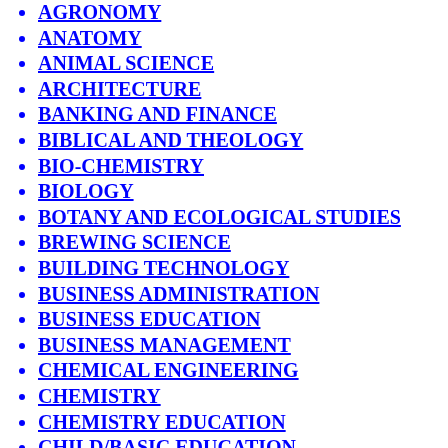AGRONOMY
ANATOMY
ANIMAL SCIENCE
ARCHITECTURE
BANKING AND FINANCE
BIBLICAL AND THEOLOGY
BIO-CHEMISTRY
BIOLOGY
BOTANY AND ECOLOGICAL STUDIES
BREWING SCIENCE
BUILDING TECHNOLOGY
BUSINESS ADMINISTRATION
BUSINESS EDUCATION
BUSINESS MANAGEMENT
CHEMICAL ENGINEERING
CHEMISTRY
CHEMISTRY EDUCATION
CHILD/BASIC EDUCATION
CIVIL ENGINEERING